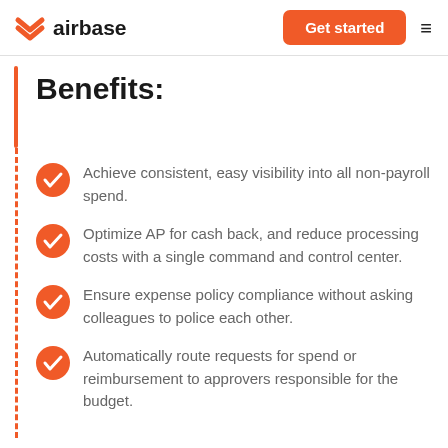airbase | Get started
Benefits:
Achieve consistent, easy visibility into all non-payroll spend.
Optimize AP for cash back, and reduce processing costs with a single command and control center.
Ensure expense policy compliance without asking colleagues to police each other.
Automatically route requests for spend or reimbursement to approvers responsible for the budget.